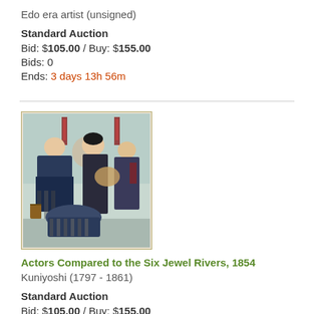Edo era artist (unsigned)
Standard Auction
Bid: $105.00 / Buy: $155.00
Bids: 0
Ends: 3 days 13h 56m
[Figure (illustration): Japanese woodblock print showing actors in traditional costume, depicting multiple figures in Edo period clothing]
Actors Compared to the Six Jewel Rivers, 1854
Kuniyoshi (1797 - 1861)
Standard Auction
Bid: $105.00 / Buy: $155.00
Bids: 0